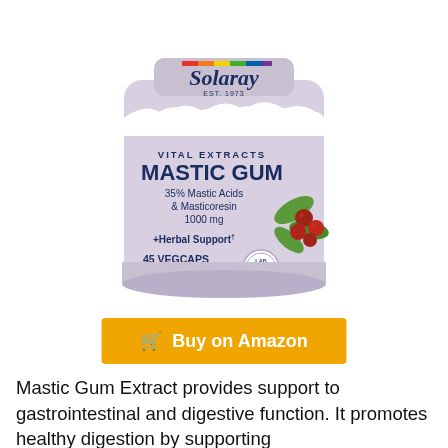[Figure (photo): Solaray Vital Extracts Mastic Gum supplement bottle — lavender/purple label showing 35% Mastic Acids & Masticoresin 1000 mg, +Herbal Support, 45 VegCaps, Lab Verified seal, with mastic berries and leaves illustration. Rainbow arc and Solaray EST. 1973 logo at top.]
Buy on Amazon
Mastic Gum Extract provides support to gastrointestinal and digestive function. It promotes healthy digestion by supporting the production of healthy digestive juices.